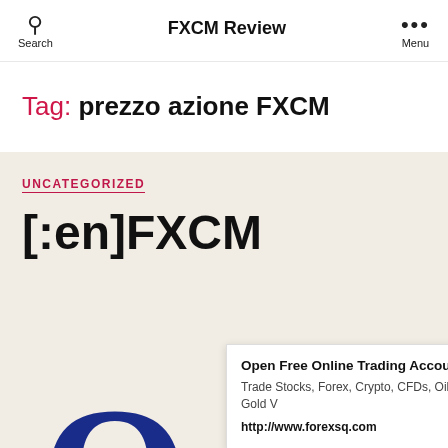Search | FXCM Review | Menu
Tag: prezzo azione FXCM
UNCATEGORIZED
[:en]FXCM
[Figure (logo): Large dark blue letter Q logo]
Open Free Online Trading Account
Trade Stocks, Forex, Crypto, CFDs, Oil, Gold V
http://www.forexsq.com